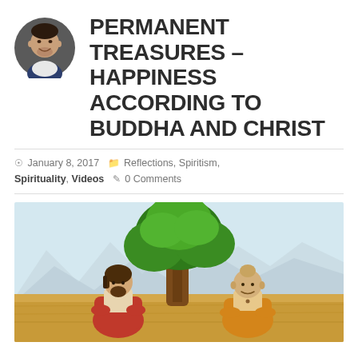[Figure (photo): Circular avatar photo of a man in a suit, smiling, against a dark background.]
PERMANENT TREASURES – HAPPINESS ACCORDING TO BUDDHA AND CHRIST
January 8, 2017  Reflections, Spiritism, Spirituality, Videos  0 Comments
[Figure (illustration): Illustrated scene showing two figures seated under a large tree in a golden field with mountains in the background. On the left is a figure resembling Jesus in a red robe; on the right is a figure resembling Buddha in orange robes.]